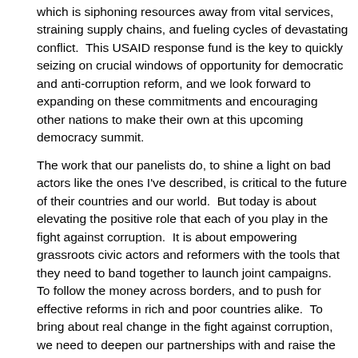which is siphoning resources away from vital services, straining supply chains, and fueling cycles of devastating conflict.  This USAID response fund is the key to quickly seizing on crucial windows of opportunity for democratic and anti-corruption reform, and we look forward to expanding on these commitments and encouraging other nations to make their own at this upcoming democracy summit.
The work that our panelists do, to shine a light on bad actors like the ones I've described, is critical to the future of their countries and our world.  But today is about elevating the positive role that each of you play in the fight against corruption.  It is about empowering grassroots civic actors and reformers with the tools that they need to band together to launch joint campaigns.  To follow the money across borders, and to push for effective reforms in rich and poor countries alike.  To bring about real change in the fight against corruption, we need to deepen our partnerships with and raise the profile of civic actors.  Like all of you who so often encounter formidable risks in your work, who expose corruption through your cutting-edge investigations,  who seek justice bravely for bad actors, and who advocate for the policies that make it harder for future bad actors to get away with such egregious crimes.